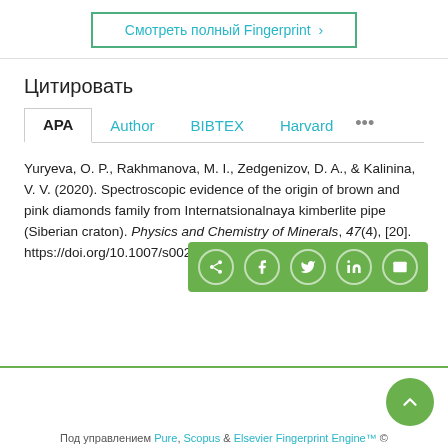Смотреть полный Fingerprint ›
Цитировать
APA | Author | BIBTEX | Harvard | ...
Yuryeva, O. P., Rakhmanova, M. I., Zedgenizov, D. A., & Kalinina, V. V. (2020). Spectroscopic evidence of the origin of brown and pink diamonds family from Internatsionalnaya kimberlite pipe (Siberian craton). Physics and Chemistry of Minerals, 47(4), [20]. https://doi.org/10.1007/s00269-020-01088-5
Под управлением Pure, Scopus & Elsevier Fingerprint Engine™ ©